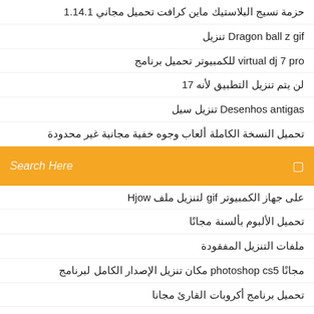تنزيل حزمة نسيج البلاستيك ماين كرافت تحميل مجاني 1.14.1
تنزيل Dragon ball z gif
تحميل برنامج virtual dj 7 pro للكمبيوتر
لن يتم تنزيل التطبيق لأنه 17
تنزيل سيل Desenhos antigas
تحميل النسخة الكاملة ألعاب وجوه خفية مجانية غير محدودة
Search Here
لتنزيل ملف gif على جهاز الكمبيوتر Hjow
تحميل الألبوم بألسنة مجانًا
ملفات التنزيل المفقودة
مجانًا photoshop cs5 مكان تنزيل الإصدار الكامل لبرنامج
تحميل برنامج أكروبات القارئ مجانا
في تنزيل التطبيقات microsoft يستمر متجر
viki كيفية تنزيل مقاطع الفيديو من تطبيق
تحميل تعريف xerox altalink c8070
تحميل مجانا star stable
كيفية تنزيل ملف التورنت في نظام التشغيل windows 10